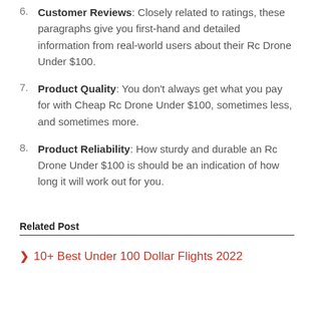6. Customer Reviews: Closely related to ratings, these paragraphs give you first-hand and detailed information from real-world users about their Rc Drone Under $100.
7. Product Quality: You don't always get what you pay for with Cheap Rc Drone Under $100, sometimes less, and sometimes more.
8. Product Reliability: How sturdy and durable an Rc Drone Under $100 is should be an indication of how long it will work out for you.
Related Post
10+ Best Under 100 Dollar Flights 2022